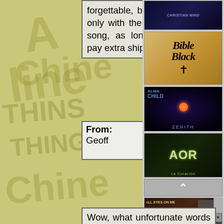forgettable, boring listen, and only with the $5 for that one song, as long as you don't pay extra shipping costs.
| From: | Date: |
| --- | --- |
| Geoff | August 29, 2004 at 21:04 |
Wow, what unfortunate words for these guys. I also really like 'Tell me why' but I
[Figure (photo): Dark album cover with blue/purple tones]
[Figure (photo): Bible Black album cover with gothic lettering on aged parchment background with cross]
[Figure (photo): Zenith album cover with space/sci-fi imagery]
[Figure (photo): AOR album cover with woman and green tones, text 'La Curacion']
[Figure (photo): All Eyes on Me album cover with play button overlay]